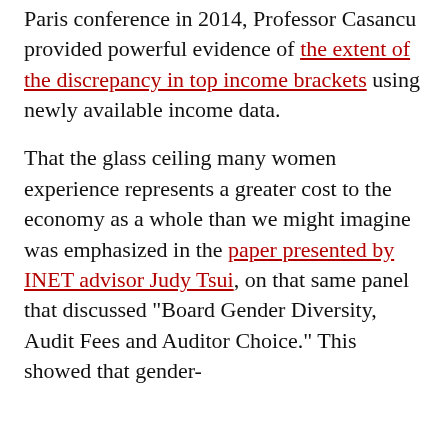Paris conference in 2014, Professor Casancu provided powerful evidence of the extent of the discrepancy in top income brackets using newly available income data.
That the glass ceiling many women experience represents a greater cost to the economy as a whole than we might imagine was emphasized in the paper presented by INET advisor Judy Tsui, on that same panel that discussed "Board Gender Diversity, Audit Fees and Auditor Choice." This showed that gender-
KEEP UP WITH OUR LATEST NEWS
Our e-mail newsletter shares new events, courses, articles, and will keep you updated on our initiatives.